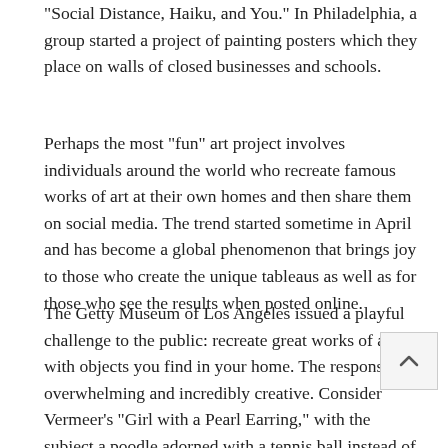“Social Distance, Haiku, and You.” In Philadelphia, a group started a project of painting posters which they place on walls of closed businesses and schools.
Perhaps the most “fun” art project involves individuals around the world who recreate famous works of art at their own homes and then share them on social media. The trend started sometime in April and has become a global phenomenon that brings joy to those who create the unique tableaus as well as for those who see the results when posted online.
The Getty Museum of Los Angeles issued a playful challenge to the public: recreate great works of art with objects you find in your home. The response was overwhelming and incredibly creative. Consider Vermeer’s “Girl with a Pearl Earring,” with the subject a poodle adorned with a tennis ball instead of a pearl. Or two women posing for “American Gothic,” one of them